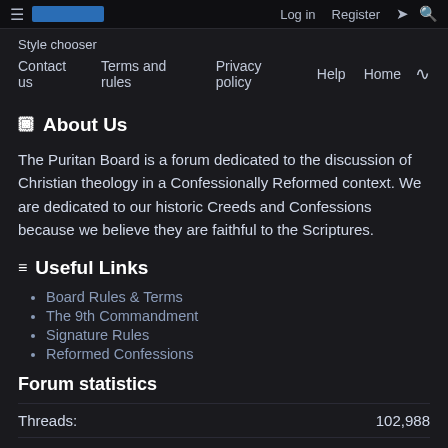Log in   Register
Style chooser
Contact us   Terms and rules   Privacy policy   Help   Home
About Us
The Puritan Board is a forum dedicated to the discussion of Christian theology in a Confessionally Reformed context. We are dedicated to our historic Creeds and Confessions because we believe they are faithful to the Scriptures.
Useful Links
Board Rules & Terms
The 9th Commandment
Signature Rules
Reformed Confessions
Forum statistics
Threads: 102,988
Messages: 1,233,561